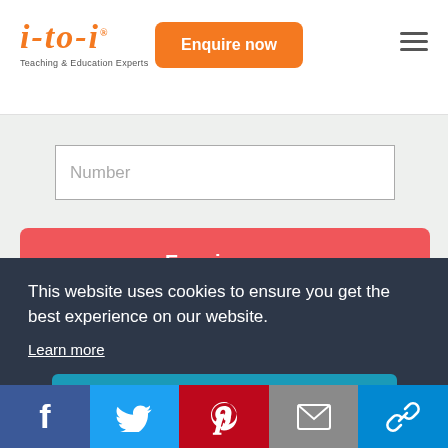[Figure (logo): i-to-i logo in orange italic script with registered trademark, subtitle 'Teaching & Education Experts']
[Figure (screenshot): Orange 'Enquire now' button in page header]
[Figure (screenshot): Hamburger menu icon (three horizontal lines)]
[Figure (screenshot): Form input field with placeholder 'Number']
[Figure (screenshot): Red 'Enquire now' button]
[Figure (screenshot): Checkbox (checked, blue) with text 'Join us to receive freebies, exclusive']
This website uses cookies to ensure you get the best experience on our website.
Learn more
[Figure (screenshot): Teal 'Got it!' button]
[Figure (screenshot): Social media sharing bar with Facebook, Twitter, Pinterest, Email, and link icons]